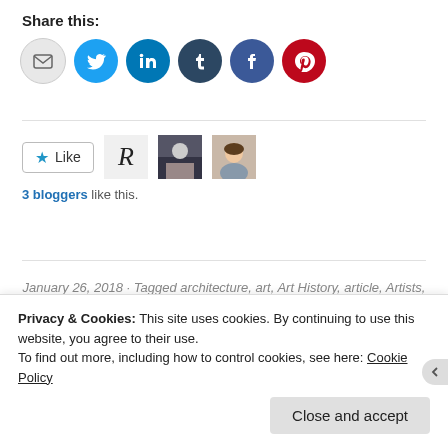Share this:
[Figure (other): Six circular social share buttons: email (grey), Twitter (blue), LinkedIn (blue), Tumblr (dark blue), Facebook (blue), Pinterest (red)]
[Figure (other): Like button with star icon and three blogger avatar thumbnails]
3 bloggers like this.
January 26, 2018 · Tagged architecture, art, Art History, article, Artists, Artwork, Bag, Beer, bike, blog, blogger, Blogging, Book, Books, cars, cats, Cher, chicago, cities, Copenhagen, creativity, CSS, Debbie Millman, depression, design, designer, Dog, Dogs, Donuts, drawing, Email, Emoji, Espresso, fastco, Food, Frank Stella, Frida Kahlo, furniture, gay, Gifs,
Privacy & Cookies: This site uses cookies. By continuing to use this website, you agree to their use. To find out more, including how to control cookies, see here: Cookie Policy